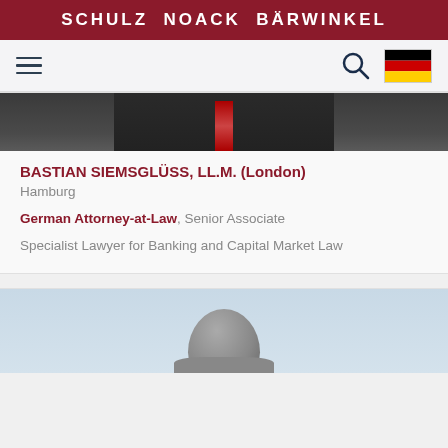SCHULZ NOACK BÄRWINKEL
[Figure (photo): Top portion of a person in dark suit and tie]
BASTIAN SIEMSGLÜSS, LL.M. (London)
Hamburg
German Attorney-at-Law, Senior Associate
Specialist Lawyer for Banking and Capital Market Law
[Figure (photo): Head and shoulders of a man with grey hair against light blue background]